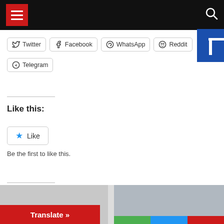Navigation bar with hamburger menu and search icon
[Figure (logo): Blue panel with white T-shaped icon at top right]
Twitter
Facebook
WhatsApp
Reddit
Telegram
Like this:
Like
Be the first to like this.
Related
[Figure (screenshot): Translate button overlay and two article thumbnail images at the bottom]
Translate »